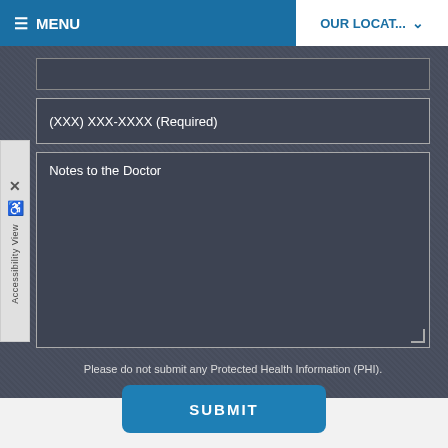MENU | OUR LOCAT...
(XXX) XXX-XXXX (Required)
Notes to the Doctor
Please do not submit any Protected Health Information (PHI).
SUBMIT
Our Location